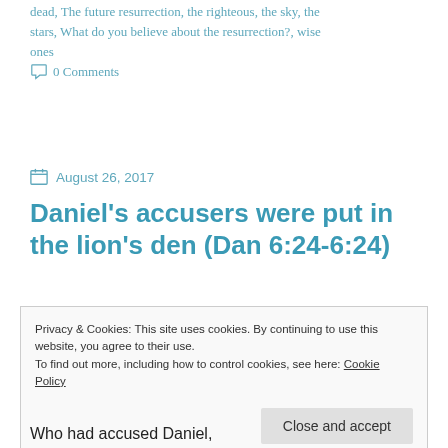dead, The future resurrection, the righteous, the sky, the stars, What do you believe about the resurrection?, wise ones   0 Comments
August 26, 2017
Daniel's accusers were put in the lion's den (Dan 6:24-6:24)
Privacy & Cookies: This site uses cookies. By continuing to use this website, you agree to their use.
To find out more, including how to control cookies, see here: Cookie Policy

Close and accept
Who had accused Daniel,